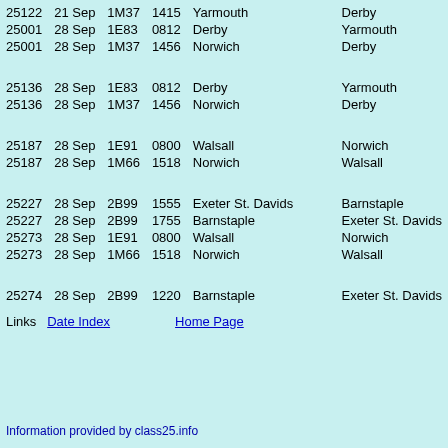| Loco | Date | Head | Time | From |  | To |
| --- | --- | --- | --- | --- | --- | --- |
| 25122 | 21 Sep | 1M37 | 1415 | Yarmouth |  | Derby |
| 25001 | 28 Sep | 1E83 | 0812 | Derby |  | Yarmouth |
| 25001 | 28 Sep | 1M37 | 1456 | Norwich |  | Derby |
|  |  |  |  |  |  |  |
| 25136 | 28 Sep | 1E83 | 0812 | Derby |  | Yarmouth |
| 25136 | 28 Sep | 1M37 | 1456 | Norwich |  | Derby |
|  |  |  |  |  |  |  |
| 25187 | 28 Sep | 1E91 | 0800 | Walsall |  | Norwich |
| 25187 | 28 Sep | 1M66 | 1518 | Norwich |  | Walsall |
|  |  |  |  |  |  |  |
| 25227 | 28 Sep | 2B99 | 1555 | Exeter St. Davids |  | Barnstaple |
| 25227 | 28 Sep | 2B99 | 1755 | Barnstaple |  | Exeter St. Davids |
| 25273 | 28 Sep | 1E91 | 0800 | Walsall |  | Norwich |
| 25273 | 28 Sep | 1M66 | 1518 | Norwich |  | Walsall |
|  |  |  |  |  |  |  |
| 25274 | 28 Sep | 2B99 | 1220 | Barnstaple |  | Exeter St. Davids |
Links  Date Index    Home Page
Information provided by class25.info